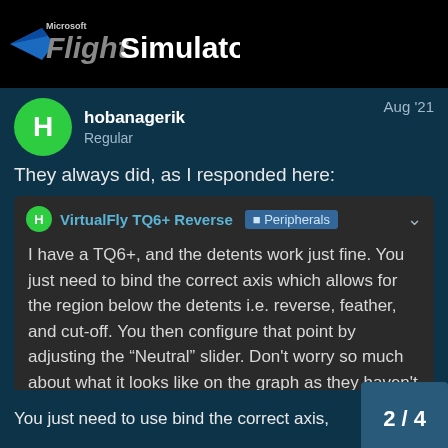[Figure (logo): Microsoft Flight Simulator logo on black background]
hobanagerik
Regular
Aug '21
They always did, as I responded here:
VirtualFly TQ6+ Reverse  Peripherals
I have a TQ6+, and the detents work just fine. You just need to bind the correct axis which allows for the region below the detents i.e. reverse, feather, and cut-off. You then configure that point by adjusting the “Neutral” slider. Don't worry so much about what it looks like on the graph as they haven't implemented that correct. Just ensure that when you have the throttle at idle, that the dot is on the midway point on the graph, even if the curve itself looks odd. For me, an I need to ra…
You just need to use bind the correct axis,
2 / 4